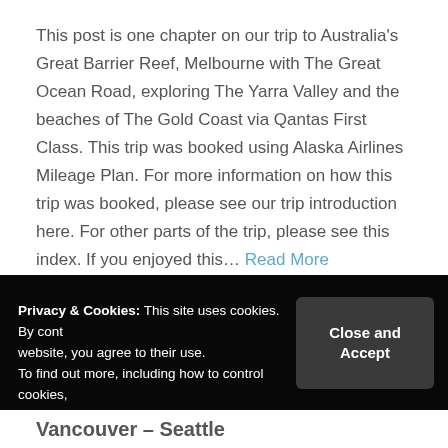This post is one chapter on our trip to Australia's Great Barrier Reef, Melbourne with The Great Ocean Road, exploring The Yarra Valley and the beaches of The Gold Coast via Qantas First Class. This trip was booked using Alaska Airlines Mileage Plan. For more information on how this trip was booked, please see our trip introduction here. For other parts of the trip, please see this index. If you enjoyed this… Read More
Category: Airline, Boeing 737, Melbourne & Whitsunday
[Figure (screenshot): Cookie consent overlay banner with dark background, showing privacy notice text on left and 'Close and Accept' button on right]
Vancouver – Seattle